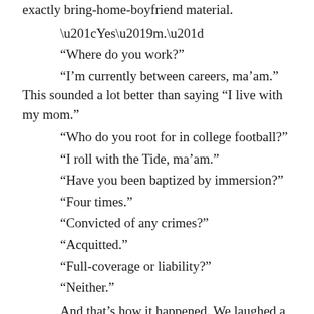exactly bring-home-boyfriend material.
“Yes’m.”
“Where do you work?”
“I’m currently between careers, ma’am.” This sounded a lot better than saying “I live with my mom.”
“Who do you root for in college football?”
“I roll with the Tide, ma’am.”
“Have you been baptized by immersion?”
“Four times.”
“Convicted of any crimes?”
“Acquitted.”
“Full-coverage or liability?”
“Neither.”
And that’s how it happened. We laughed a lot. We talked. We told stories. We ate dessert together. We must have reclined at that table for an hour before her daughter came downstairs.